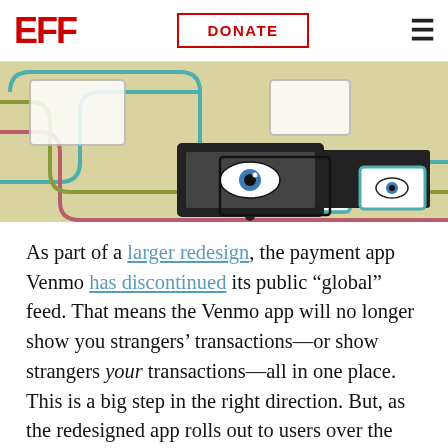EFF | DONATE
[Figure (illustration): EFF-style illustration showing surveillance devices (screens with eyes, a black rectangle device) on a beige background with colored circuit-board style lines in teal, pink, red, and olive green.]
As part of a larger redesign, the payment app Venmo has discontinued its public “global” feed. That means the Venmo app will no longer show you strangers’ transactions—or show strangers your transactions—all in one place. This is a big step in the right direction. But, as the redesigned app rolls out to users over the next few weeks, it’s unclear what Venmo’s defaults will be going forward. If Venmo and parent company PayPal are taking privacy seriously, the app should make privacy the default, not just an option still buried in the settings.